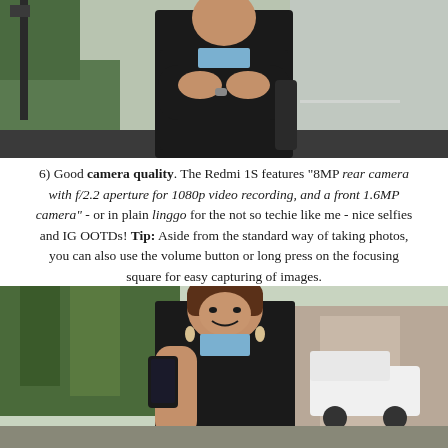[Figure (photo): Woman with arms crossed wearing black outfit with light blue collar shirt underneath, standing outdoors near greenery and a road.]
6) Good camera quality. The Redmi 1S features "8MP rear camera with f/2.2 aperture for 1080p video recording, and a front 1.6MP camera" - or in plain linggo for the not so techie like me - nice selfies and IG OOTDs! Tip: Aside from the standard way of taking photos, you can also use the volume button or long press on the focusing square for easy capturing of images.
[Figure (photo): Woman smiling while holding a smartphone up, wearing black top with light blue collar, outdoors with trees and a white van in background.]